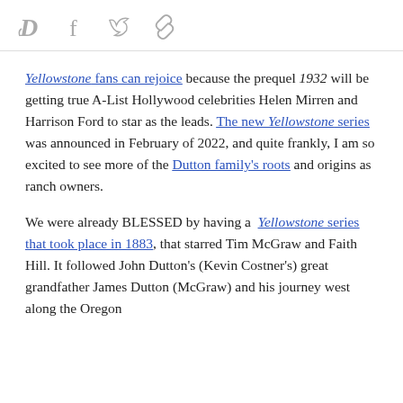[Social sharing icons: Digg, Facebook, Twitter, Link]
Yellowstone fans can rejoice because the prequel 1932 will be getting true A-List Hollywood celebrities Helen Mirren and Harrison Ford to star as the leads. The new Yellowstone series was announced in February of 2022, and quite frankly, I am so excited to see more of the Dutton family's roots and origins as ranch owners.
We were already BLESSED by having a Yellowstone series that took place in 1883, that starred Tim McGraw and Faith Hill. It followed John Dutton's (Kevin Costner's) great grandfather James Dutton (McGraw) and his journey west along the Oregon